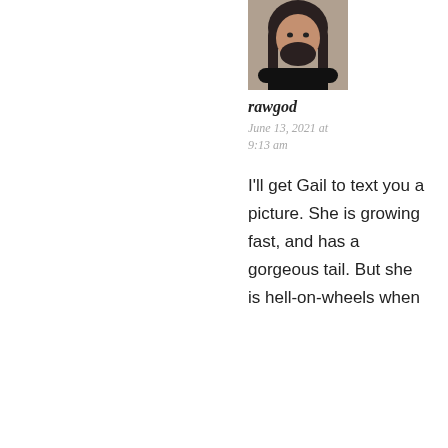[Figure (photo): Profile photo of a person with long hair and beard wearing a black shirt, shown from shoulders up]
rawgod
June 13, 2021 at 9:13 am
I'll get Gail to text you a picture. She is growing fast, and has a gorgeous tail. But she is hell-on-wheels when